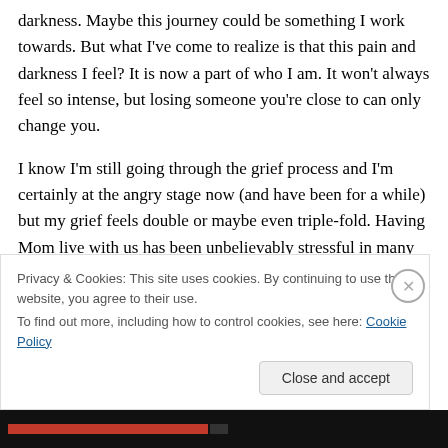darkness. Maybe this journey could be something I work towards. But what I've come to realize is that this pain and darkness I feel? It is now a part of who I am. It won't always feel so intense, but losing someone you're close to can only change you.
I know I'm still going through the grief process and I'm certainly at the angry stage now (and have been for a while) but my grief feels double or maybe even triple-fold. Having Mom live with us has been unbelievably stressful in many ways. I grieve for what our lives were before she
Privacy & Cookies: This site uses cookies. By continuing to use this website, you agree to their use.
To find out more, including how to control cookies, see here: Cookie Policy